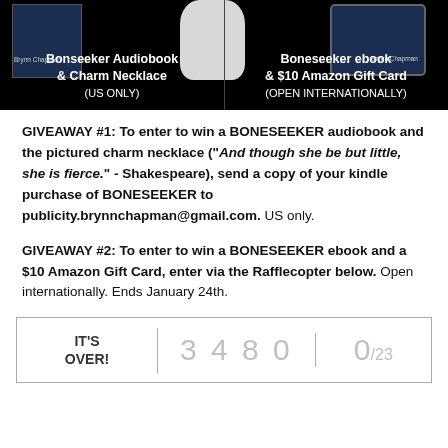[Figure (illustration): Promotional giveaway banner with two prize columns on black background. Left: Bonseeker Audiobook & Charm Necklace (US ONLY). Right: Boneseeker ebook & $10 Amazon Gift Card (OPEN INTERNATIONALLY). Shows book covers and a charm necklace.]
GIVEAWAY #1: To enter to win a BONESEEKER audiobook and the pictured charm necklace ("And though she be but little, she is fierce." - Shakespeare), send a copy of your kindle purchase of BONESEEKER to publicity.brynnchapman@gmail.com. US only.
GIVEAWAY #2: To enter to win a BONESEEKER ebook and a $10 Amazon Gift Card, enter via the Rafflecopter below. Open internationally. Ends January 24th.
[Figure (screenshot): Rafflecopter widget showing IT'S OVER! on the left, the number 3480 in the middle, and 0/23 on the right.]